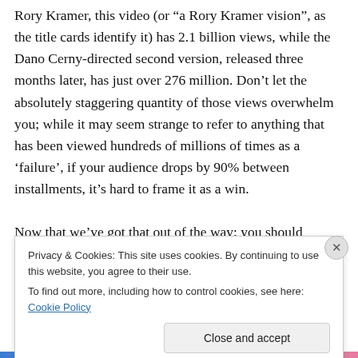Rory Kramer, this video (or “a Rory Kramer vision”, as the title cards identify it) has 2.1 billion views, while the Dano Cerny-directed second version, released three months later, has just over 276 million. Don’t let the absolutely staggering quantity of those views overwhelm you; while it may seem strange to refer to anything that has been viewed hundreds of millions of times as a ‘failure’, if your audience drops by 90% between installments, it’s hard to frame it as a win.

Now that we’ve got that out of the way: you should
Privacy & Cookies: This site uses cookies. By continuing to use this website, you agree to their use.
To find out more, including how to control cookies, see here: Cookie Policy
Close and accept